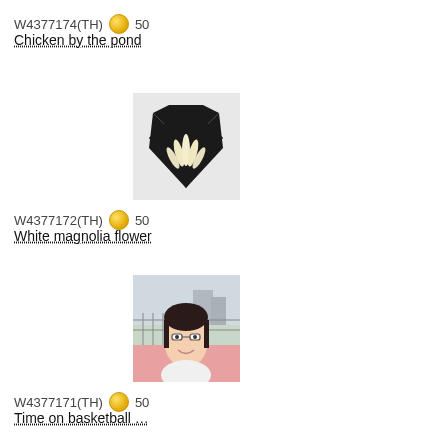W4377174(TH) 🟡 50
Chicken by the pond
[Figure (photo): Heart-shaped black card with white flower petals arranged inside, on a light gray background]
W4377172(TH) 🟡 50
White magnolia flower
[Figure (photo): Young Asian woman with glasses smiling at a basketball court, chain-link fence visible behind her]
W4377171(TH) 🟡 50
Time on basketball …